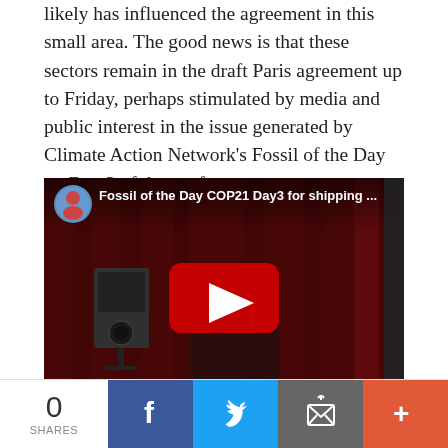likely has influenced the agreement in this small area. The good news is that these sectors remain in the draft Paris agreement up to Friday, perhaps stimulated by media and public interest in the issue generated by Climate Action Network's Fossil of the Day on Day 3 of the conference.
[Figure (screenshot): YouTube video thumbnail showing 'Fossil of the Day COP21 Day3 for shipping ...' with a person in a skeleton costume speaking into a microphone on a stage with a red curtain background. A play button is visible in the center.]